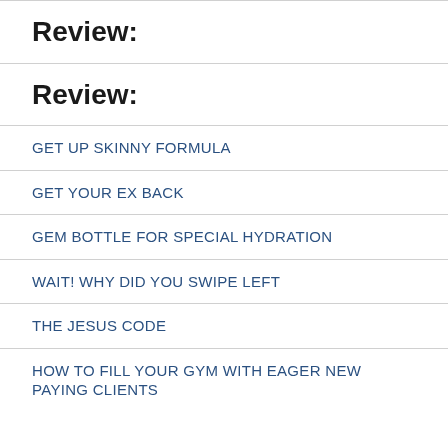Review:
Review:
GET UP SKINNY FORMULA
GET YOUR EX BACK
GEM BOTTLE FOR SPECIAL HYDRATION
WAIT! WHY DID YOU SWIPE LEFT
THE JESUS CODE
HOW TO FILL YOUR GYM WITH EAGER NEW PAYING CLIENTS